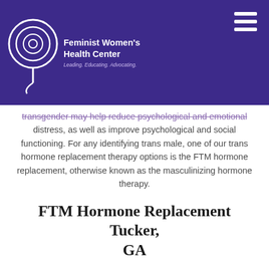Feminist Women's Health Center — Leading. Educating. Advocating.
transgender may help reduce psychological and emotional distress, as well as improve psychological and social functioning. For any identifying trans male, one of our trans hormone replacement therapy options is the FTM hormone replacement, otherwise known as the masculinizing hormone therapy.
FTM Hormone Replacement Tucker, GA
FTM hormone replacement is a testosterone-based medication that is used to induce the physical changes in your body to help match your gender identity and your body. Using this trans hormone replacement therapy before female puberty begins can prevent the development of breasts. When taking the FTM hormone replacement, you...